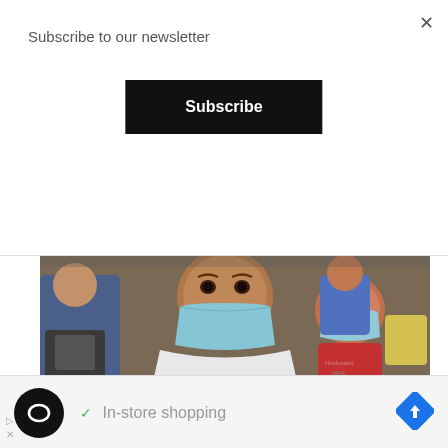Subscribe to our newsletter
Subscribe
[Figure (photo): People wearing blue medical face masks, an elderly man in the foreground and a child behind him, seated outdoors]
DISASTER, INDIA
COVID-19 : India Cross 57 Lakh Cases
In-store shopping